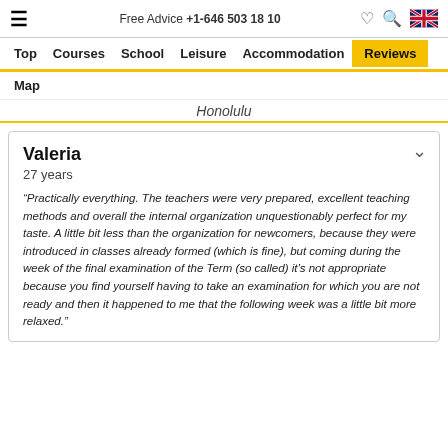Free Advice +1-646 503 18 10
Top  Courses  School  Leisure  Accommodation  Reviews  Map
Honolulu
Valeria
27 years
“Practically everything. The teachers were very prepared, excellent teaching methods and overall the internal organization unquestionably perfect for my taste. A little bit less than the organization for newcomers, because they were introduced in classes already formed (which is fine), but coming during the week of the final examination of the Term (so called) it’s not appropriate because you find yourself having to take an examination for which you are not ready and then it happened to me that the following week was a little bit more relaxed.”